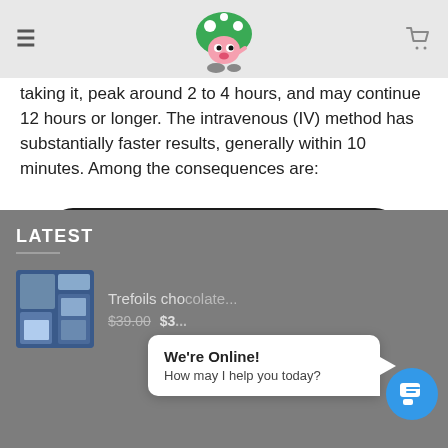[Figure (illustration): Website navigation bar with hamburger menu icon on left, cartoon mushroom character logo in center, shopping cart icon on right]
taking it, peak around 2 to 4 hours, and may continue 12 hours or longer. The intravenous (IV) method has substantially faster results, generally within 10 minutes. Among the consequences are:
LSD
LATEST
Trefoils cho...
$39.00  $3...
We're Online!
How may I help you today?